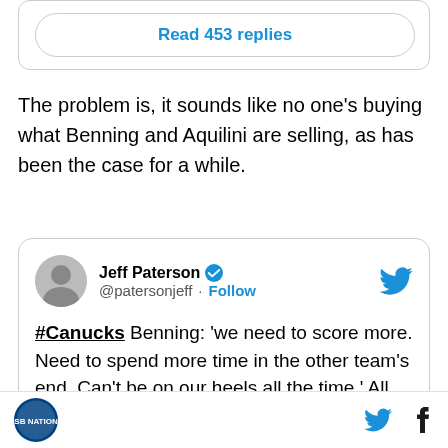Read 453 replies
The problem is, it sounds like no one's buying what Benning and Aquilini are selling, as has been the case for a while.
[Figure (screenshot): Embedded tweet from Jeff Paterson (@patersonjeff) with Twitter verified badge and Follow button. Tweet text: '#Canucks Benning: 'we need to score more. Need to spend more time in the other team's end. Can't be on our heels all the time.' All very true. So it's recognized at']
Site logo, Twitter icon, Facebook icon